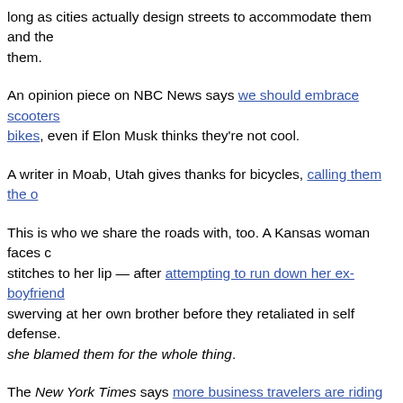long as cities actually design streets to accommodate them and them.
An opinion piece on NBC News says we should embrace scooters bikes, even if Elon Musk thinks they're not cool.
A writer in Moab, Utah gives thanks for bicycles, calling them the o
This is who we share the roads with, too. A Kansas woman faces stitches to her lip — after attempting to run down her ex-boyfriend swerving at her own brother before they retaliated in self defense. she blamed them for the whole thing.
The New York Times says more business travelers are riding their instead of driving. The planned transportation makeover of LAX is better bike and pedestrian access, as well as a new Metro station. keep their word this time.
The Philadelphia Inquirer calls for revitalizing a declining street by and using the space to make it more inviting for bike riders and ped
A DC woman complains about the failure of bike etiquette displaye cyclists.